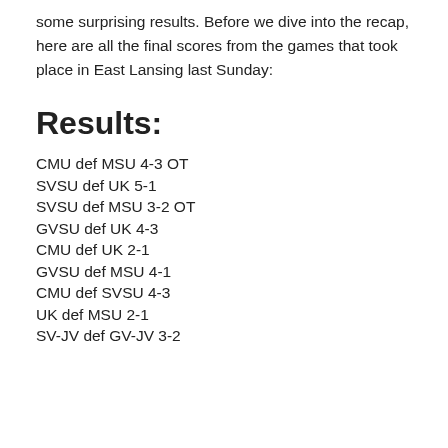some surprising results.  Before we dive into the recap, here are all the final scores from the games that took place in East Lansing last Sunday:
Results:
CMU def MSU 4-3 OT
SVSU def UK 5-1
SVSU def MSU 3-2 OT
GVSU def UK 4-3
CMU def UK 2-1
GVSU def MSU 4-1
CMU def SVSU 4-3
UK def MSU 2-1
SV-JV def GV-JV 3-2